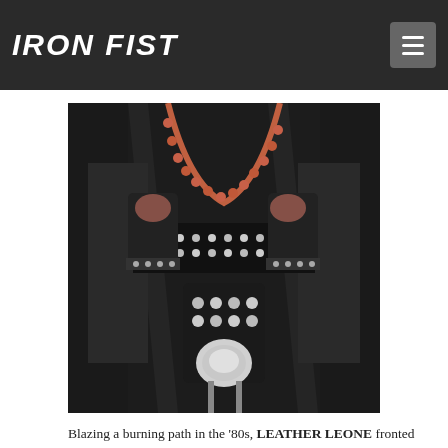IRON FIST
[Figure (photo): Close-up photo of a performer wearing studded black leather outfit with metal studs, beaded accessories, and fingerless gloves, against a dark background.]
Blazing a burning path in the ‘80s, LEATHER LEONE fronted bands like Rude Girl, Malibu Barbi and the mighty CHASTAIN. But after a 12 year break, where she felt side-lined by the over-sexualised music industry, she’s back with a vengeance and